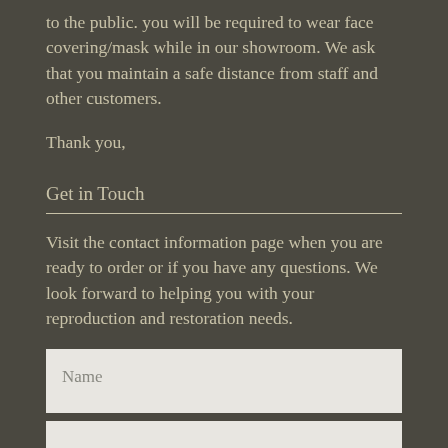to the public. you will be required to wear face covering/mask while in our showroom. We ask that you maintain a safe distance from staff and other customers.
Thank you,
Get in Touch
Visit the contact information page when you are ready to order or if you have any questions. We look forward to helping you with your reproduction and restoration needs.
Name